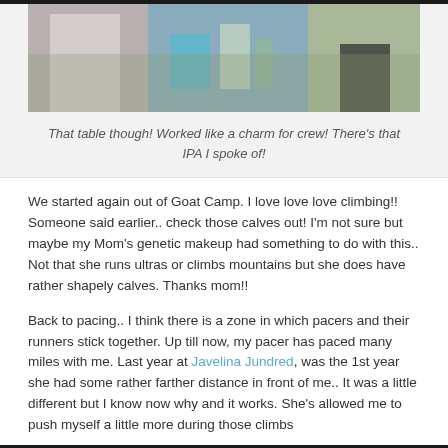[Figure (photo): Photo of people at a table outdoors with supplies and drinks, including an IPA bottle, at what appears to be a race crew station.]
That table though! Worked like a charm for crew! There's that IPA I spoke of!
We started again out of Goat Camp. I love love love climbing!! Someone said earlier.. check those calves out! I'm not sure but maybe my Mom's genetic makeup had something to do with this.. Not that she runs ultras or climbs mountains but she does have rather shapely calves. Thanks mom!!
Back to pacing.. I think there is a zone in which pacers and their runners stick together. Up till now, my pacer has paced many miles with me. Last year at Javelina Jundred, was the 1st year she had some rather farther distance in front of me.. It was a little different but I know now why and it works. She's allowed me to push myself a little more during those climbs